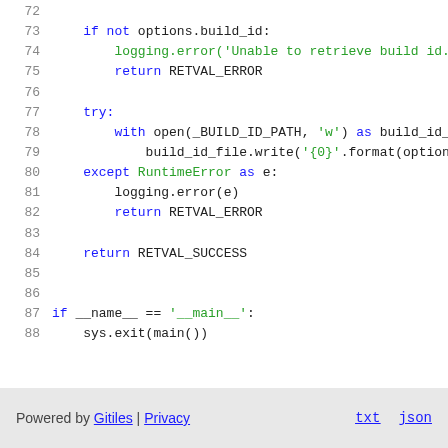[Figure (screenshot): Python source code snippet showing lines 72-88. Lines show error handling with if not options.build_id, logging.error, return RETVAL_ERROR, try/except RuntimeError block, return RETVAL_SUCCESS, and if __name__ == '__main__': sys.exit(main()).]
Powered by Gitiles | Privacy    txt  json